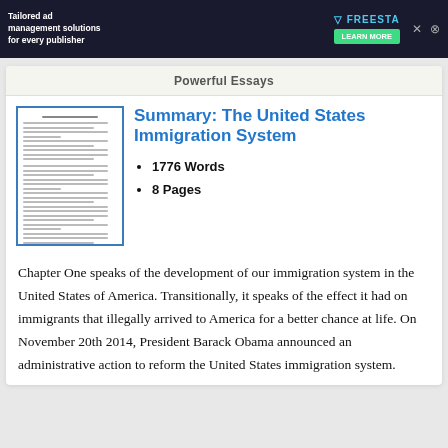[Figure (screenshot): Advertisement banner with dark background: 'Tailored ad management solutions for every publisher' with FREESTA logo and LEARN MORE button]
Powerful Essays
[Figure (illustration): Thumbnail preview image of an essay document with lines of text]
Summary: The United States Immigration System
1776 Words
8 Pages
Chapter One speaks of the development of our immigration system in the United States of America. Transitionally, it speaks of the effect it had on immigrants that illegally arrived to America for a better chance at life. On November 20th 2014, President Barack Obama announced an administrative action to reform the United States immigration system.